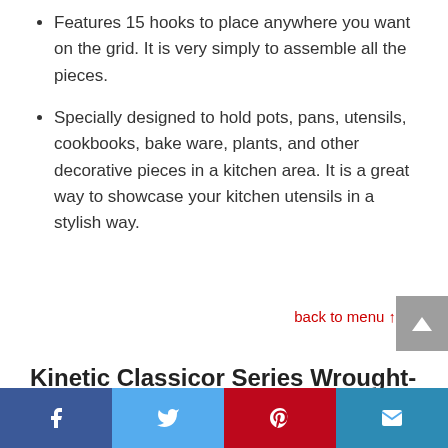Features 15 hooks to place anywhere you want on the grid. It is very simply to assemble all the pieces.
Specially designed to hold pots, pans, utensils, cookbooks, bake ware, plants, and other decorative pieces in a kitchen area. It is a great way to showcase your kitchen utensils in a stylish way.
back to menu ↑
Kinetic Classicor Series Wrought-Iron Oval Pot Rack 12021
[Figure (infographic): Social sharing bar with Facebook, Twitter, Pinterest, and Email buttons]